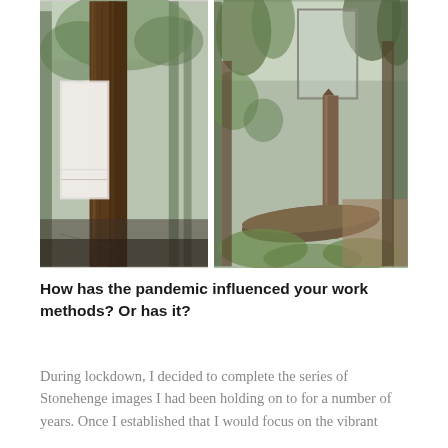[Figure (photo): Two side-by-side forest photographs. Left: tall sequoia/redwood trees with large trunks in a forest, with a photograph-within-photograph effect showing an indoor space. Right: a forest scene with pine trees, a dead standing tree trunk, a fallen log, and a mirror or frame object leaning against the trees.]
How has the pandemic influenced your work methods? Or has it?
During lockdown, I decided to complete the series of Stonehenge images I had been holding on to for a number of years. Once I established that I would focus on the vibrant